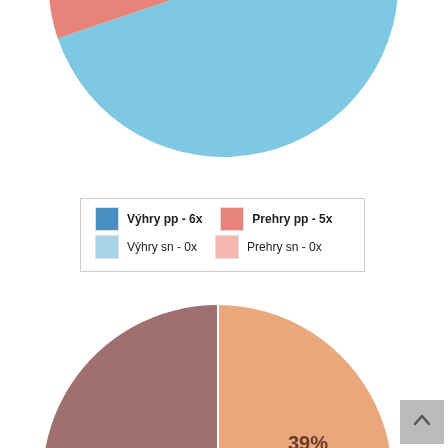[Figure (pie-chart): Pie chart 1]
[Figure (pie-chart): Legend for first pie chart: Výhry pp - 6x (blue), Prehry pp - 5x (red), Výhry sn - 0x (light blue), Prehry sn - 0x (light red)]
[Figure (pie-chart): Pie chart 2]